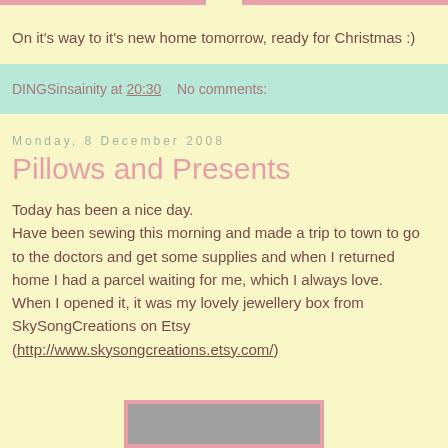On it's way to it's new home tomorrow, ready for Christmas :)
DINGSinsainity at 20:30   No comments:
Monday, 8 December 2008
Pillows and Presents
Today has been a nice day.
Have been sewing this morning and made a trip to town to go to the doctors and get some supplies and when I returned home I had a parcel waiting for me, which I always love.
When I opened it, it was my lovely jewellery box from SkySongCreations on Etsy
(http://www.skysongcreations.etsy.com/)
[Figure (photo): Partially visible photo at the bottom of the page with a pink border]